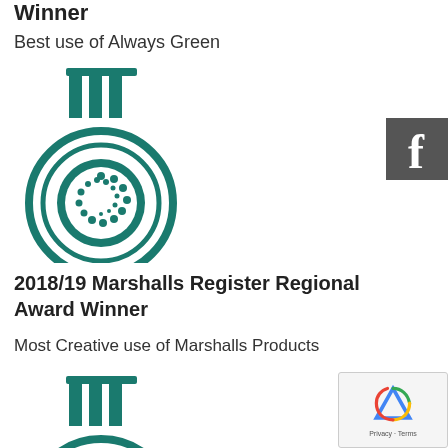Winner
Best use of Always Green
[Figure (logo): Marshalls Register award medal icon — circular teal medal with vertical bar ribbon at top, concentric circles, and spiral of dots in center]
2018/19 Marshalls Register Regional Award Winner
Most Creative use of Marshalls Products
[Figure (logo): Marshalls Register award medal icon (partial) — same teal circular medal, partially visible at bottom of page]
[Figure (other): Facebook social share button — dark grey square with white lowercase 'f']
[Figure (other): reCAPTCHA widget — white box with reCAPTCHA logo and Privacy - Terms text]